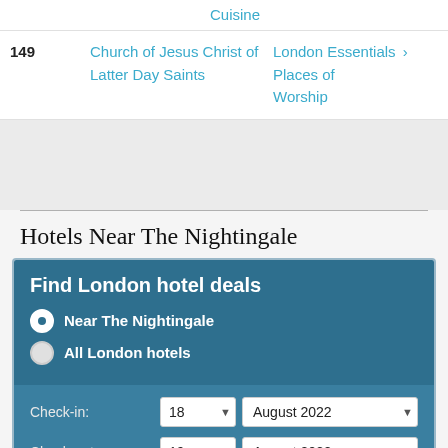Cuisine
| # | Place | Category |
| --- | --- | --- |
| 149 | Church of Jesus Christ of Latter Day Saints | London Essentials > Places of Worship |
Hotels Near The Nightingale
Find London hotel deals
Near The Nightingale
All London hotels
Check-in: 18 August 2022
Check-out: 19 August 2022